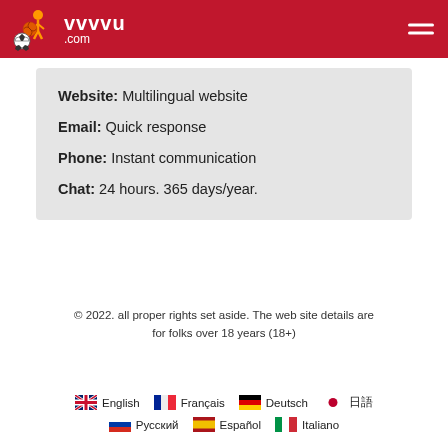vvvvu.com
Website: Multilingual website
Email: Quick response
Phone: Instant communication
Chat: 24 hours. 365 days/year.
© 2022. all proper rights set aside. The web site details are for folks over 18 years (18+)
English  Français  Deutsch  日本語  Русский  Español  Italiano